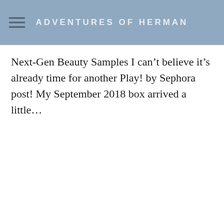ADVENTURES OF HERMAN
Next-Gen Beauty Samples I can't believe it's already time for another Play! by Sephora post! My September 2018 box arrived a little...